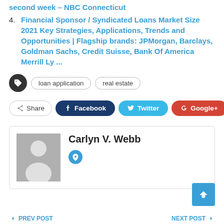second week – NBC Connecticut
4. Financial Sponsor / Syndicated Loans Market Size 2021 Key Strategies, Applications, Trends and Opportunities | Flagship brands: JPMorgan, Barclays, Goldman Sachs, Credit Suisse, Bank Of America Merrill Ly ...
Tags: loan application, real estate
Share | Facebook | Twitter | Google+ | +
Carlyn V. Webb
PREV POST | NEXT POST